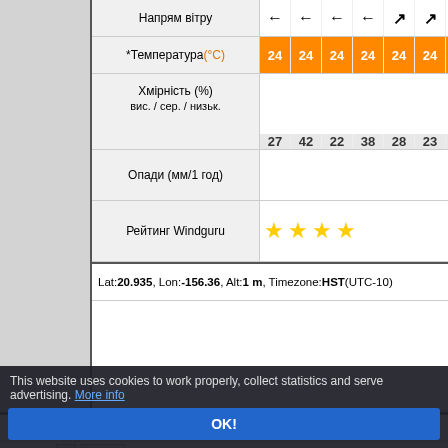| Row Label | Col1 | Col2 | Col3 | Col4 | Col5 | Col6 | Col7 | Col8 |
| --- | --- | --- | --- | --- | --- | --- | --- | --- |
| Напрям вітру | ← | ← | ← | ← | ↗ | ↗ | ↑ | ↗ |
| *Температура (°C) | 24 | 24 | 24 | 24 | 24 | 24 | 24 | 23 |
| Хмірність (%) вис. / сер. / низьк. | 27 | 42 | 22 | 38 | 28 | 23 | 12 | 9 |
| Опади (мм/1 год) |  |  |  |  |  |  |  |  |
| Рейтинг Windguru | ★ | ★ | ★ | ★ |  |  |  |  |
Lat: 20.935, Lon: -156.36, Alt: 1 m, Timezone: HST (UTC-10)
United States - Maui (north shore)
Прогноз | 2D | Map | Webcams | Wind reports | Accommodations
| HRW-ARW 3 km 22.08.2022 00 UTC | Su 21. 14h | Su 21. 15h | Su 21. 16h | Su 21. 17h | Su 21. 18h | Su 21. 19h | Su 21. 20h | Su 21. 21h |
| --- | --- | --- | --- | --- | --- | --- | --- | --- |
| Швидкість вітру (вузлів) | 15 | 18 | 17 | 17 | 15 | 12 | 11 | 10 |
| Пориви вітру (вузлів) | 14 | 20 | 21 | 19 | 19 | 18 | 17 | 17 |
| Напрям вітру | ← | ← | ← | ← | ← | ← | ← | ← |
| *Температура (°C) | 25 | 27 | 26 | 26 | 26 | 25 | 25 | 25 |
| Хмірність (%) |  |  |  |  |  |  |  |  |
This website uses cookies to work properly, collect statistics and serve advertising. More info
OK!